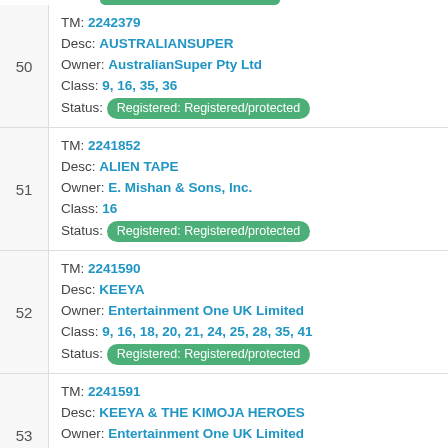TM: 2242379 Desc: AUSTRALIANSUPER Owner: AustralianSuper Pty Ltd Class: 9, 16, 35, 36 Status: Registered: Registered/protected
TM: 2241852 Desc: ALIEN TAPE Owner: E. Mishan & Sons, Inc. Class: 16 Status: Registered: Registered/protected
TM: 2241590 Desc: KEEYA Owner: Entertainment One UK Limited Class: 9, 16, 18, 20, 21, 24, 25, 28, 35, 41 Status: Registered: Registered/protected
TM: 2241591 Desc: KEEYA & THE KIMOJA HEROES Owner: Entertainment One UK Limited Class: 9, 16, 18, 20, 21, 24, 25, 28, 35, 41 Status: Registered: Registered/protected
TM: 2241666 Desc: ...